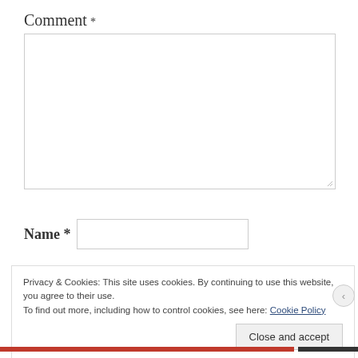Comment
*
[Figure (other): Empty textarea input box for comment entry with resize handle at bottom right]
Name *
[Figure (other): Text input field for name entry]
Privacy & Cookies: This site uses cookies. By continuing to use this website, you agree to their use.
To find out more, including how to control cookies, see here: Cookie Policy
Close and accept